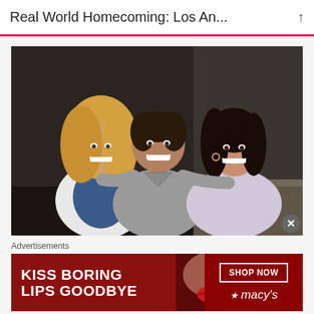Real World Homecoming: Los An...
[Figure (photo): Three people posing together smiling — a blonde woman on the left in a white blazer, a man in the center in a gray v-neck shirt with his arms around both women, and a dark-haired woman on the right in a floral/lace top. The background is dark/dimly lit.]
Advertisements
[Figure (infographic): Advertisement banner for Macy's cosmetics. Red background with text 'KISS BORING LIPS GOODBYE', a photo of a woman's face with red lips in the center, and on the right side a 'SHOP NOW' button and the Macy's star logo.]